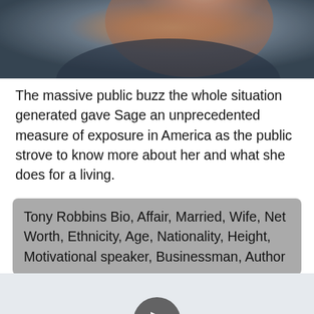[Figure (photo): Close-up photograph of a man's face and shoulder, appears to be wearing a dark jacket, warm background tones]
The massive public buzz the whole situation generated gave Sage an unprecedented measure of exposure in America as the public strove to know more about her and what she does for a living.
Tony Robbins Bio, Affair, Married, Wife, Net Worth, Ethnicity, Age, Nationality, Height, Motivational speaker, Businessman, Author
[Figure (other): Video player with play button on light grey background]
Tony Robbins and wife of 19 years Sage have an unusual love story, that blossomed as they were going through their